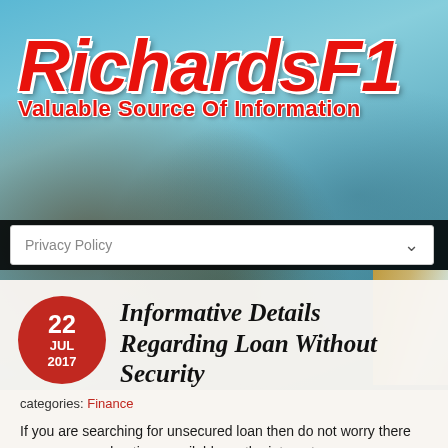[Figure (logo): RichardsF1 logo in red bold italic text with white outline on a blurred city street background. Tagline: Valuable Source Of Information in red below the logo.]
Privacy Policy
Informative Details Regarding Loan Without Security
categories: Finance
If you are searching for unsecured loan then do not worry there are many good options available on the internet you can